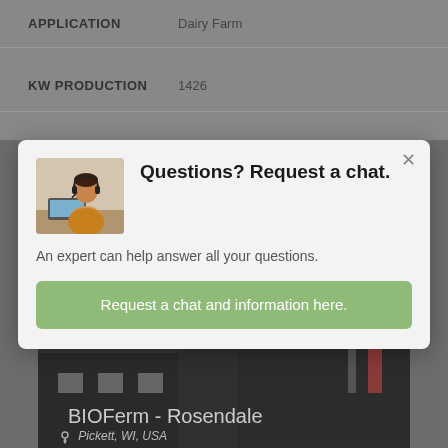| Field | Value |
| --- | --- |
| APPLICATION | Dairy Farm |
| KW PRODUCTION | 1426 |
[Figure (screenshot): Modal dialog with heading 'Questions? Request a chat.', body text 'An expert can help answer all your questions.', and a green button 'Request a chat and information here.' with a photo of a woman at a desk in the top-left corner of the modal.]
Questions? Request a chat.
An expert can help answer all your questions.
Request a chat and information here.
BIOFerm - Rosendale
Pickett, WI, USA